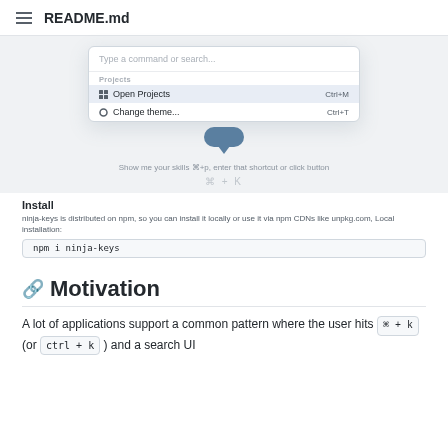README.md
[Figure (screenshot): Screenshot of a command palette UI showing 'Type a command or search...' input with two items: 'Open Projects' (Ctrl+M) and 'Change theme...' (Ctrl+T), with a chat bubble below and instruction text 'Show me your skills ⌘+p, enter that shortcut or click button' and a keyboard shortcut display ⌘ + K]
Install
ninja-keys is distributed on npm, so you can install it locally or use it via npm CDNs like unpkg.com, Local installation:
npm i ninja-keys
Motivation
A lot of applications support a common pattern where the user hits ⌘ + k (or ctrl + k ) and a search UI dialog appears, usually to search through this in Notice...